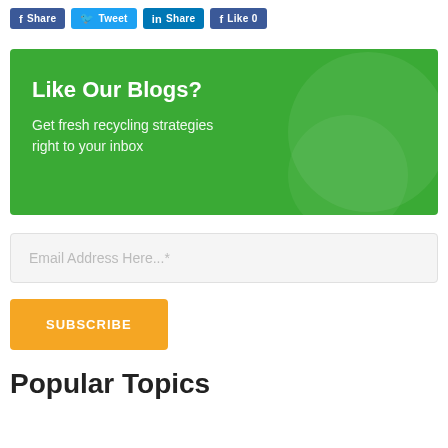[Figure (other): Social sharing buttons: Facebook Share, Twitter Tweet, LinkedIn Share, Facebook Like 0]
[Figure (infographic): Green banner with text 'Like Our Blogs?' and subtitle 'Get fresh recycling strategies right to your inbox']
Email Address Here...*
SUBSCRIBE
Popular Topics